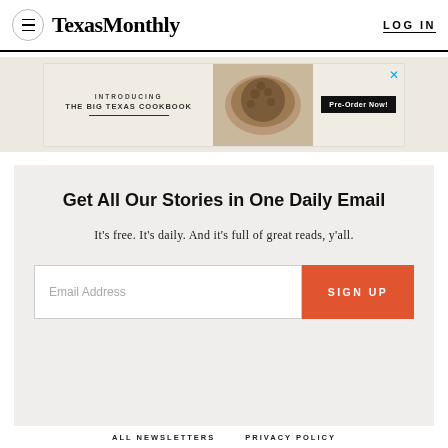Texas Monthly | LOG IN
[Figure (screenshot): Advertisement banner for 'The Big Texas Cookbook' with food photo and Pre-Order Now button]
Get All Our Stories in One Daily Email
It's free. It's daily. And it's full of great reads, y'all.
Email Address  SIGN UP
ALL NEWSLETTERS   PRIVACY POLICY